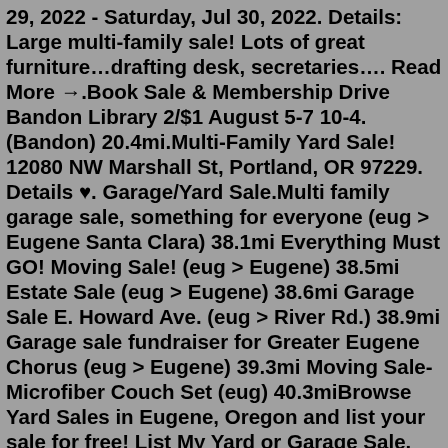29, 2022 - Saturday, Jul 30, 2022. Details: Large multi-family sale! Lots of great furniture…drafting desk, secretaries…. Read More →.Book Sale & Membership Drive Bandon Library 2/$1 August 5-7 10-4. (Bandon) 20.4mi.Multi-Family Yard Sale! 12080 NW Marshall St, Portland, OR 97229. Details ♥. Garage/Yard Sale.Multi family garage sale, something for everyone (eug > Eugene Santa Clara) 38.1mi Everything Must GO! Moving Sale! (eug > Eugene) 38.5mi Estate Sale (eug > Eugene) 38.6mi Garage Sale E. Howard Ave. (eug > River Rd.) 38.9mi Garage sale fundraiser for Greater Eugene Chorus (eug > Eugene) 39.3mi Moving Sale- Microfiber Couch Set (eug) 40.3miBrowse Yard Sales in Eugene, Oregon and list your sale for free! List My Yard or Garage Sale. Alabama. Yard Sales in Birmingham; Yard Sales in Huntsville; Get ready to shop our vast inventory of Ford Ranger, F-150, F-250 F-350, F-450, F-550, F-600, and F-650. We specialize in empty chassis and van upfitting for service body, contractor body, combo body, landscape body or dump bodies. The